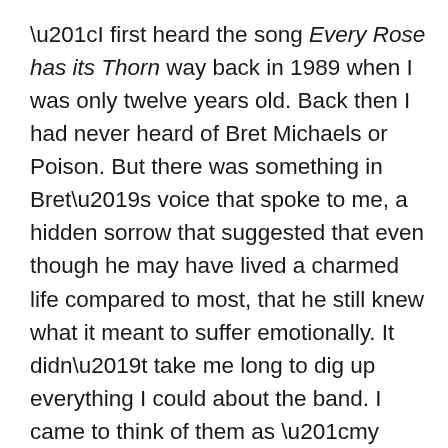“I first heard the song Every Rose has its Thorn way back in 1989 when I was only twelve years old. Back then I had never heard of Bret Michaels or Poison. But there was something in Bret’s voice that spoke to me, a hidden sorrow that suggested that even though he may have lived a charmed life compared to most, that he still knew what it meant to suffer emotionally. It didn’t take me long to dig up everything I could about the band. I came to think of them as “my guys,” like they were part of the family or something. Stupid, I know, but that’s the way I felt about them. I felt a kinship with Bret more than any of the other band members. It’s hard to explain, but there was just something about him, about his voice….he could speak volumes by singing just a few lines. I think it’s that way with a lot of his fans. A lot of people will come across that certain singer or musician that they feel some sort of